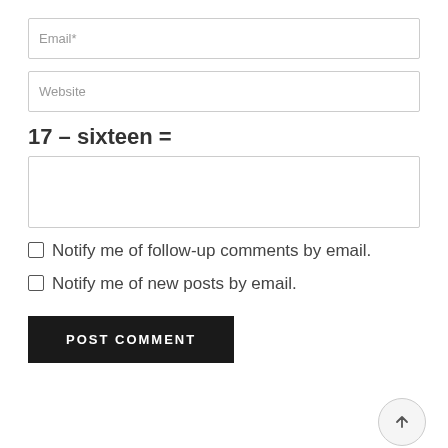Email*
Website
17 – sixteen =
Notify me of follow-up comments by email.
Notify me of new posts by email.
POST COMMENT